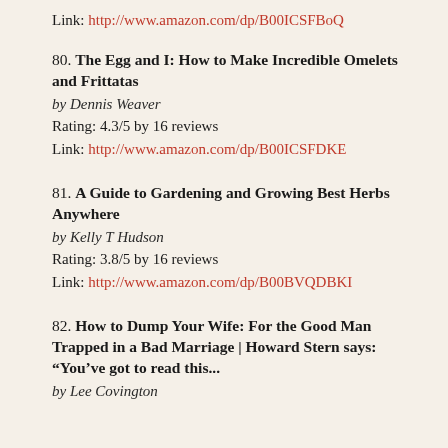Link: http://www.amazon.com/dp/B00ICSFBoQ
80. The Egg and I: How to Make Incredible Omelets and Frittatas
by Dennis Weaver
Rating: 4.3/5 by 16 reviews
Link: http://www.amazon.com/dp/B00ICSFDKE
81. A Guide to Gardening and Growing Best Herbs Anywhere
by Kelly T Hudson
Rating: 3.8/5 by 16 reviews
Link: http://www.amazon.com/dp/B00BVQDBKI
82. How to Dump Your Wife: For the Good Man Trapped in a Bad Marriage | Howard Stern says: “You’ve got to read this...
by Lee Covington